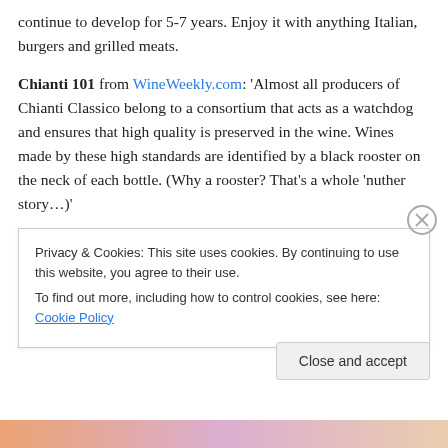continue to develop for 5-7 years. Enjoy it with anything Italian, burgers and grilled meats.
Chianti 101 from WineWeekly.com: 'Almost all producers of Chianti Classico belong to a consortium that acts as a watchdog and ensures that high quality is preserved in the wine. Wines made by these high standards are identified by a black rooster on the neck of each bottle. (Why a rooster? That's a whole 'nuther story…)'
What does the Rooster signify?: What makes unique Chianti Classico compared to other Chianti wines is the
Privacy & Cookies: This site uses cookies. By continuing to use this website, you agree to their use.
To find out more, including how to control cookies, see here: Cookie Policy
Close and accept